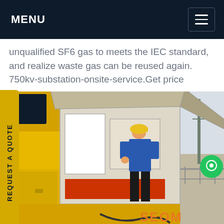MENU
unqualified SF6 gas to meets the IEC standard, and realize waste gas can be reused again. 750kv-substation-onsite-service.Get price
[Figure (photo): A worker in blue jacket and yellow hard hat standing on a yellow mobile service vehicle/truck platform, operating SF6 gas equipment. Outdoor setting with road, fence, trees, and power transmission towers in background. Orange brand text partially visible at bottom right.]
REQUEST A QUOTE